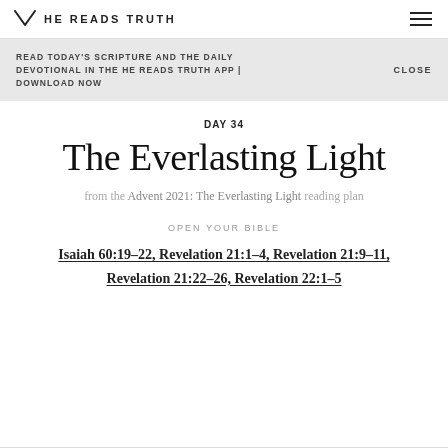HE READS TRUTH
READ TODAY'S SCRIPTURE AND THE DAILY DEVOTIONAL IN THE HE READS TRUTH APP | DOWNLOAD NOW   CLOSE
DAY 34
The Everlasting Light
from the Advent 2021: The Everlasting Light reading plan
OPEN YOUR BIBLE
Isaiah 60:19–22, Revelation 21:1–4, Revelation 21:9–11, Revelation 21:22–26, Revelation 22:1–5